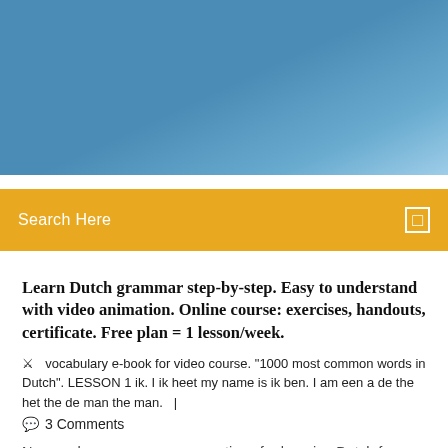[Figure (photo): Blue sky gradient header banner image]
Search Here
Learn Dutch grammar step-by-step. Easy to understand with video animation. Online course: exercises, handouts, certificate. Free plan = 1 lesson/week.
vocabulary e-book for video course. "1000 most common words in Dutch". LESSON 1 ik. I ik heet my name is ik ben. I am een a de the het the de man the man.   |
3 Comments
Now we have so many more options for learning Dutch for free;